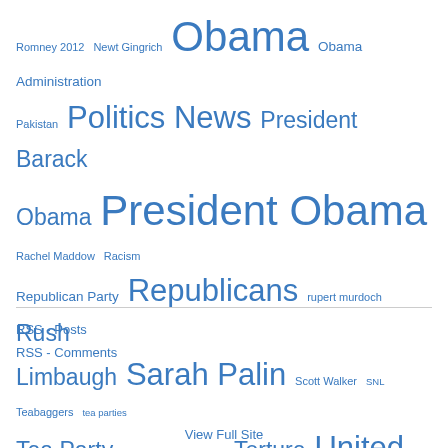[Figure (infographic): Tag cloud of political topics with varying font sizes indicating frequency. Tags include: Romney 2012, Newt Gingrich, Obama, Obama Administration, Pakistan, Politics News, President Barack Obama, President Obama, Rachel Maddow, Racism, Republican Party, Republicans, rupert murdoch, Rush Limbaugh, Sarah Palin, Scott Walker, SNL, Teabaggers, tea parties, Tea Party, Terrorism, Tony Blair, Torture, United States, Video, Wall Street, war, war crimes, Waterboarding, White House]
RSS - Posts
RSS - Comments
View Full Site